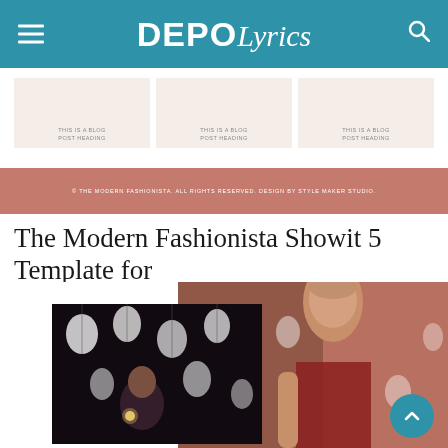DEPO Lyrics
[Figure (screenshot): Three blog post thumbnail cards with light pink/beige background and small centered text labels reading 'THIS IS A BLOG POST HEADING']
© THE MODERN FASHIONISTA. ALL RIGHTS RESERVED. DESIGN BY STYLE MAKER STUDIO.
The Modern Fashionista Showit 5 Template for
[Figure (photo): Collage of two photos: a party scene on the left showing a woman holding sparklers among hanging white balloon-like lights in a dark room, and a fashion model on the right wearing a sheer red long-sleeve top against a similar balloon-light backdrop.]